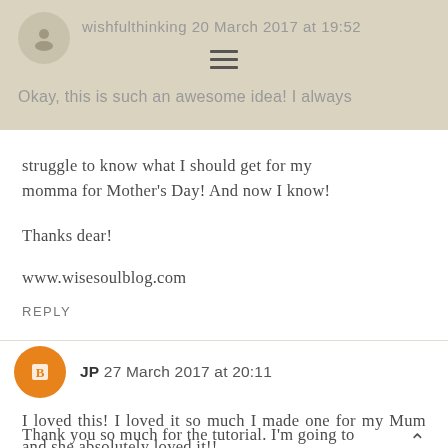wishfulthinking 20 March 2017 at 19:52
Okay, this is such an awesome idea! I always struggle to know what I should get for my momma for Mother's Day! And now I know!
Thanks dear!
www.wisesoulblog.com
REPLY
JP 27 March 2017 at 20:11
I loved this! I loved it so much I made one for my Mum and she absolutely loved it!!
Thank you so much for the tutorial. I'm going to